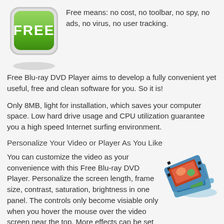[Figure (logo): Green rounded square button with white text FREE, with a shadow beneath it]
Free means: no cost, no toolbar, no spy, no ads, no virus, no user tracking.
Free Blu-ray DVD Player aims to develop a fully convenient yet useful, free and clean software for you. So it is!
Only 8MB, light for installation, which saves your computer space. Low hard drive usage and CPU utilization guarantee you a high speed Internet surfing environment.
Personalize Your Video or Player As You Like
[Figure (illustration): Stack of film/DVD media discs with photos on them, in blue and colorful tones]
You can customize the video as your convenience with this Free Blu-ray DVD Player. Personalize the screen length, frame size, contrast, saturation, brightness in one panel. The controls only become visiable only when you hover the mouse over the video screen near the top. More effects can be set by dropping down the setting folder.
Easier Operation and Management